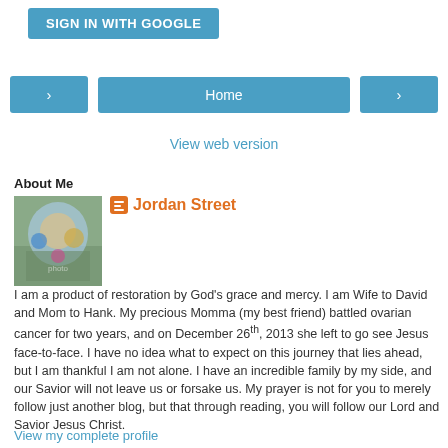[Figure (screenshot): Blue 'SIGN IN WITH GOOGLE' button at top left]
[Figure (screenshot): Navigation row with left arrow button, Home button, right arrow button]
View web version
About Me
[Figure (photo): Profile photo of a person outdoors with colorful decorations]
Jordan Street
I am a product of restoration by God's grace and mercy. I am Wife to David and Mom to Hank. My precious Momma (my best friend) battled ovarian cancer for two years, and on December 26th, 2013 she left to go see Jesus face-to-face. I have no idea what to expect on this journey that lies ahead, but I am thankful I am not alone. I have an incredible family by my side, and our Savior will not leave us or forsake us. My prayer is not for you to merely follow just another blog, but that through reading, you will follow our Lord and Savior Jesus Christ.
View my complete profile